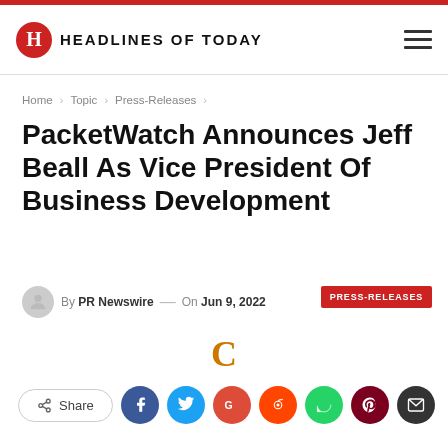HEADLINES OF TODAY
Home > Topic > Press-Releases >
PacketWatch Announces Jeff Beall As Vice President Of Business Development
By PR Newswire — On Jun 9, 2022  PRESS-RELEASES
C
Share